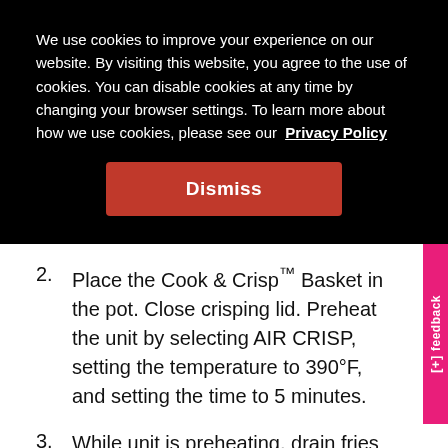We use cookies to improve your experience on our website. By visiting this website, you agree to the use of cookies. You can disable cookies at any time by changing your browser settings. To learn more about how we use cookies, please see our Privacy Policy
Dismiss
2. Place the Cook & Crisp™ Basket in the pot. Close crisping lid. Preheat the unit by selecting AIR CRISP, setting the temperature to 390°F, and setting the time to 5 minutes.
3. While unit is preheating, drain fries thoroughly and pat dry with paper towels. Toss with oil.
4. After 5 minutes, open the crisping lid and add fries to the basket. Close lid. Select AIR CRISP, set temperature to 390°F, and set time to 30 minutes. Select START/STOP to begin.